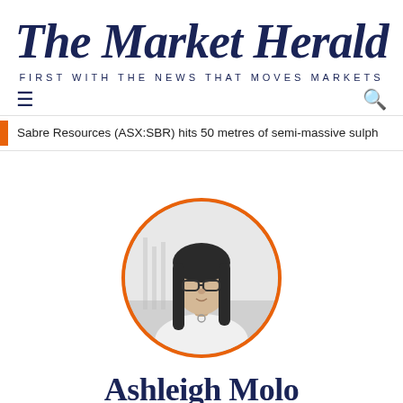The Market Herald — FIRST WITH THE NEWS THAT MOVES MARKETS
Sabre Resources (ASX:SBR) hits 50 metres of semi-massive sulph...
[Figure (photo): Black and white circular portrait photo of a woman with long dark hair and glasses, framed in an orange circle border. Partial author name visible below.]